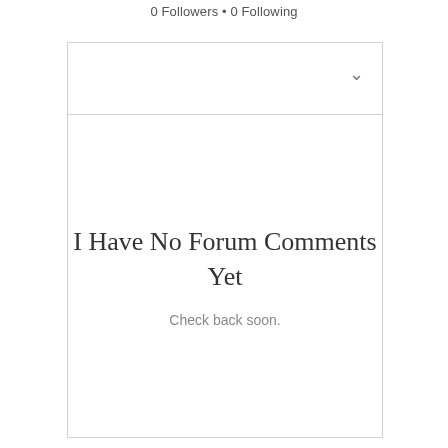0 Followers • 0 Following
I Have No Forum Comments Yet
Check back soon.